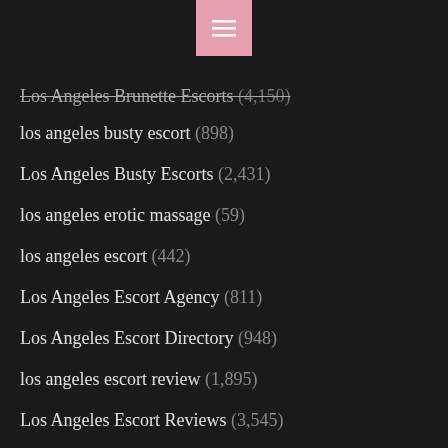Los Angeles Brunette Escorts (4,150)
los angeles busty escort (898)
Los Angeles Busty Escorts (2,431)
los angeles erotic massage (59)
los angeles escort (442)
Los Angeles Escort Agency (811)
Los Angeles Escort Directory (948)
los angeles escort review (1,895)
Los Angeles Escort Reviews (3,545)
Los Angeles Escort Service (878)
LOS ANGELES ESCORT SERVICE JOBS (1)